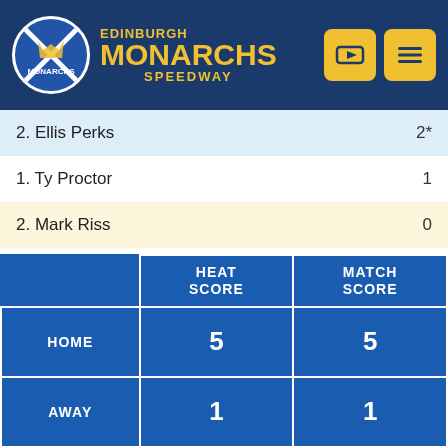[Figure (logo): Edinburgh Monarchs Speedway logo with circular badge and text]
2. Ellis Perks  2*
1. Ty Proctor  1
2. Mark Riss  0
|  | HEAT SCORE | MATCH SCORE |
| --- | --- | --- |
| HOME | 5 | 5 |
| AWAY | 1 | 1 |
HEAT 2
Time: 54.7
6. Tobias Busch  3